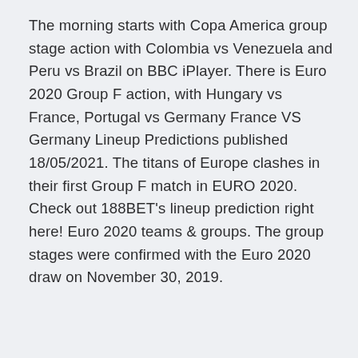The morning starts with Copa America group stage action with Colombia vs Venezuela and Peru vs Brazil on BBC iPlayer. There is Euro 2020 Group F action, with Hungary vs France, Portugal vs Germany France VS Germany Lineup Predictions published 18/05/2021. The titans of Europe clashes in their first Group F match in EURO 2020. Check out 188BET's lineup prediction right here! Euro 2020 teams & groups. The group stages were confirmed with the Euro 2020 draw on November 30, 2019.